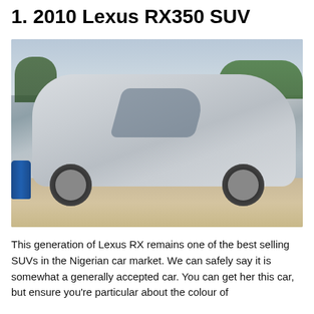1. 2010 Lexus RX350 SUV
[Figure (photo): A silver 2010 Lexus RX350 SUV parked on a paved surface outdoors, with trees and buildings visible in the background under a cloudy sky.]
This generation of Lexus RX remains one of the best selling SUVs in the Nigerian car market. We can safely say it is somewhat a generally accepted car. You can get her this car, but ensure you're particular about the colour of